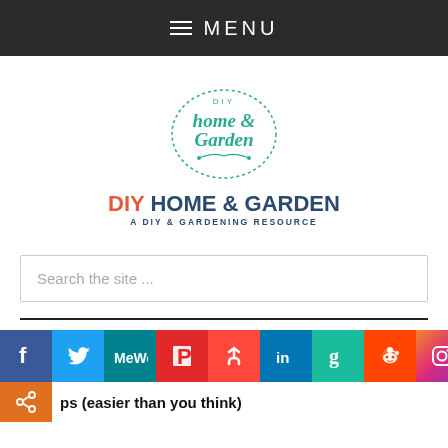MENU
[Figure (logo): DIY Home & Garden logo with decorative circular script text reading 'home & garden' and tagline 'A DIY & Gardening Resource']
Search the site ...
[Figure (infographic): Social media sharing icons bar: Facebook, Twitter, MeWe, Flipboard, Mix, LinkedIn, Goodreads, Reddit, Instagram, and a share icon. Tweet label visible on right.]
ps (easier than you think)